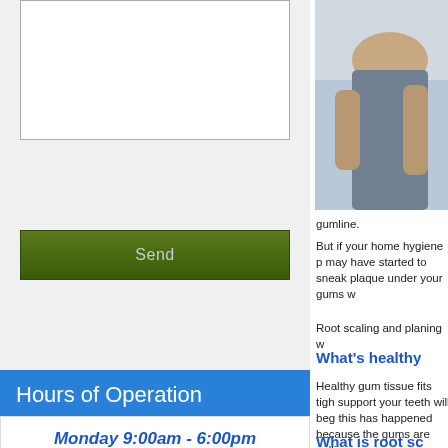[Figure (photo): Person sitting with arms crossed, partial view showing torso and arms]
gumline.
But if your home hygiene p may have started to sneak plaque under your gums w
Root scaling and planing w
What's healthy
Healthy gum tissue fits tigh support your teeth will beg this has happened because the gums are pulling away
What is root sc
Send
Hours of Operation
Monday 9:00am - 6:00pm
Tuesday -Thursday
8:00am - 5:00pm
Friday 9:00am - 10:00am